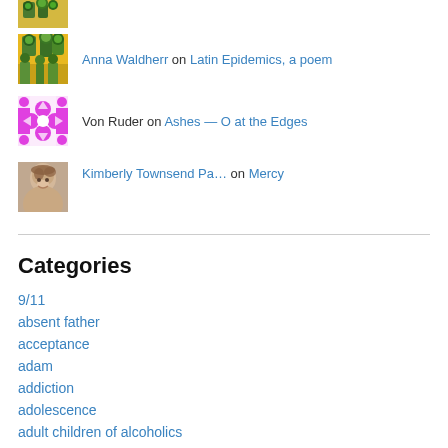[Figure (photo): Partial avatar image at top, flower painting, cut off]
Anna Waldherr on Latin Epidemics, a poem
Von Ruder on Ashes — O at the Edges
Kimberly Townsend Pa… on Mercy
Categories
9/11
absent father
acceptance
adam
addiction
adolescence
adult children of alcoholics